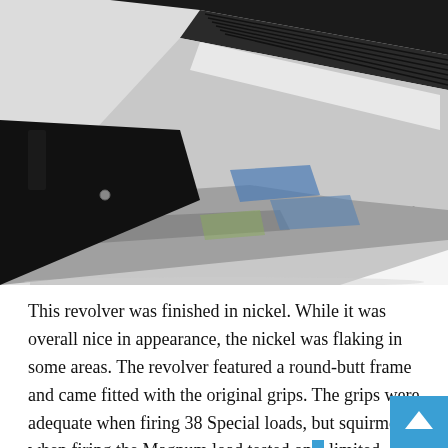[Figure (photo): Close-up photograph of a nickel-finished revolver barrel with 'S&W .357 MAGNUM' engraved on the side. The metallic surface shows some blue discoloration and wear marks.]
This revolver was finished in nickel. While it was overall nice in appearance, the nickel was flaking in some areas. The revolver featured a round-butt frame and came fitted with the original grips. The grips were adequate when firing 38 Special loads, but squirmed when firing the Magnum load tested on a limited basis. Both the Ruger SP101 and the Smith & Wesson Military and Police revolver were easier to control with 38